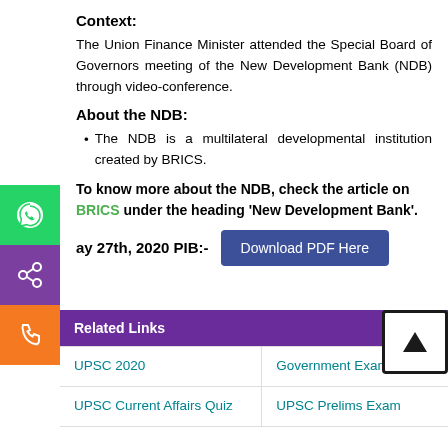Context:
The Union Finance Minister attended the Special Board of Governors meeting of the New Development Bank (NDB) through video-conference.
About the NDB:
The NDB is a multilateral developmental institution created by BRICS.
To know more about the NDB, check the article on BRICS under the heading 'New Development Bank'.
May 27th, 2020 PIB:-
[Figure (other): Download PDF Here button (dark blue)]
| Related Links |  |
| --- | --- |
| UPSC 2020 | Government Exams |
| UPSC Current Affairs Quiz | UPSC Prelims Exam |